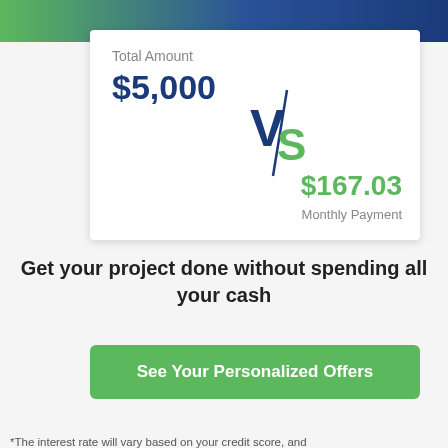[Figure (infographic): Top banner with green-to-dark-blue gradient]
Total Amount
$5,000
[Figure (logo): VS logo with blue V and green S and diagonal slash]
$167.03
Monthly Payment
Get your project done without spending all your cash
See Your Personalized Offers
*The interest rate will vary based on your credit score, and